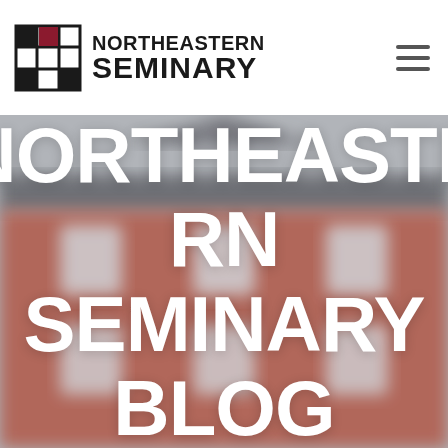NORTHEASTERN SEMINARY
[Figure (photo): Blurred brick building (seminary campus) serving as hero background image]
NORTHEASTERN SEMINARY BLOG